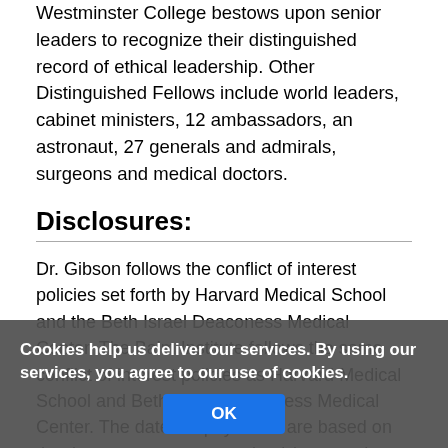Westminster College bestows upon senior leaders to recognize their distinguished record of ethical leadership. Other Distinguished Fellows include world leaders, cabinet ministers, 12 ambassadors, an astronaut, 27 generals and admirals, surgeons and medical doctors.
Disclosures:
Dr. Gibson follows the conflict of interest policies set forth by Harvard Medical School and the Beth Israel Deaconess Medical Center. The Baim Institute follows the same conflict of interest policies as Harvard Medical School and Beth Israel Deaconess Medical Center. The dates of payments are based on the date payment was received (on a cash basis) rather than the date of billing (accrual basis).
Executive Position
Chief Executive Officer, Baim Institute for Clinical Research
Present Research/Grant Funding (in the last year)
Ongoing: CSL Behring; Janssen Pharmaceuticals; Johnson &
Cookies help us deliver our services. By using our services, you agree to our use of cookies.